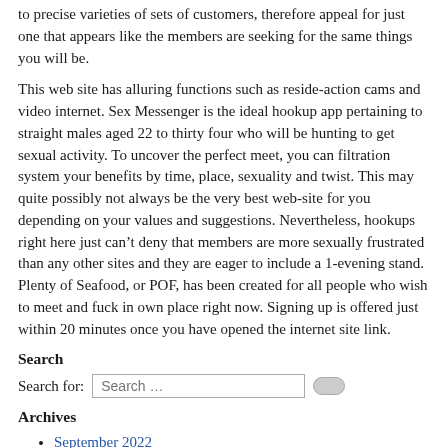to precise varieties of sets of customers, therefore appeal for just one that appears like the members are seeking for the same things you will be.
This web site has alluring functions such as reside-action cams and video internet. Sex Messenger is the ideal hookup app pertaining to straight males aged 22 to thirty four who will be hunting to get sexual activity. To uncover the perfect meet, you can filtration system your benefits by time, place, sexuality and twist. This may quite possibly not always be the very best web-site for you depending on your values and suggestions. Nevertheless, hookups right here just can’t deny that members are more sexually frustrated than any other sites and they are eager to include a 1-evening stand. Plenty of Seafood, or POF, has been created for all people who wish to meet and fuck in own place right now. Signing up is offered just within 20 minutes once you have opened the internet site link.
Search
Search for:
Archives
September 2022